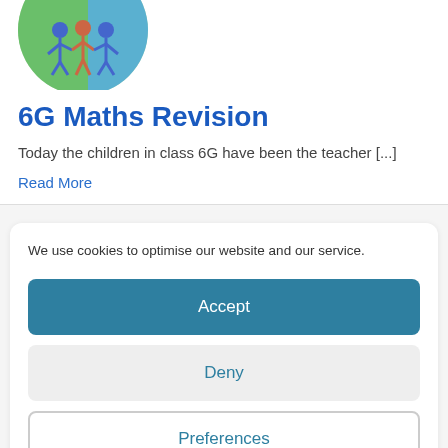[Figure (illustration): Partial circular logo showing illustrated stick figures of children on a green and blue background, cropped at top of page]
6G Maths Revision
Today the children in class 6G have been the teacher [...]
Read More
We use cookies to optimise our website and our service.
Accept
Deny
Preferences